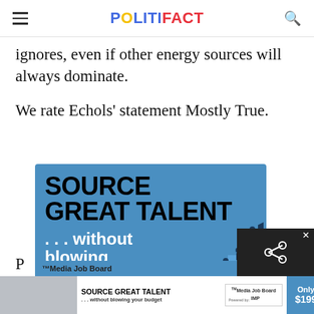POLITIFACT
ignores, even if other energy sources will always dominate.
We rate Echols' statement Mostly True.
[Figure (illustration): Advertisement for Media Job Board: 'SOURCE GREAT TALENT ... without blowing your budget' on a blue background with illustrated figures on ascending steps.]
[Figure (illustration): Bottom sticky ad bar: SOURCE GREAT TALENT ... without blowing your budget, Media Job Board, Only $199]
P